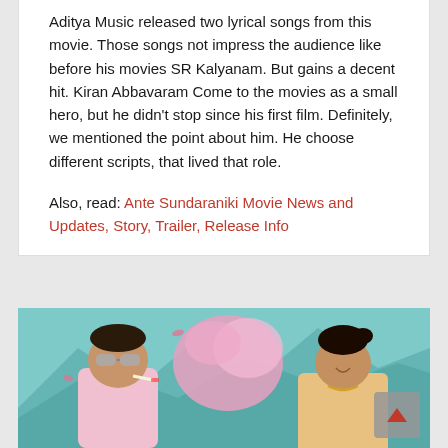Aditya Music released two lyrical songs from this movie. Those songs not impress the audience like before his movies SR Kalyanam. But gains a decent hit. Kiran Abbavaram Come to the movies as a small hero, but he didn't stop since his first film. Definitely, we mentioned the point about him. He choose different scripts, that lived that role.
Also, read: Ante Sundaraniki Movie News and Updates, Story, Trailer, Release Info
[Figure (photo): Movie promotional poster showing a young man in a pink hoodie with sunglasses and a cigarette, and a woman in traditional attire, with pink smoke and mountains in the background.]